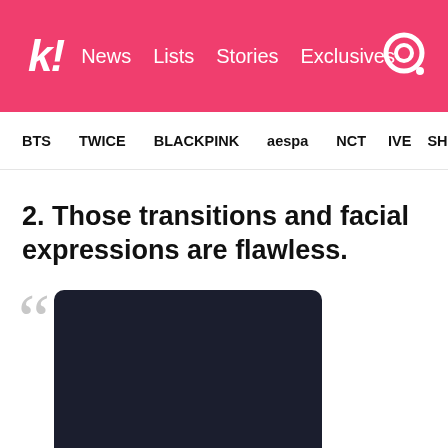k! News Lists Stories Exclusives
BTS  TWICE  BLACKPINK  aespa  NCT  IVE  SHINee
2. Those transitions and facial expressions are flawless.
[Figure (other): Dark embedded media block (video or tweet embed) with quote mark decoration to its left]